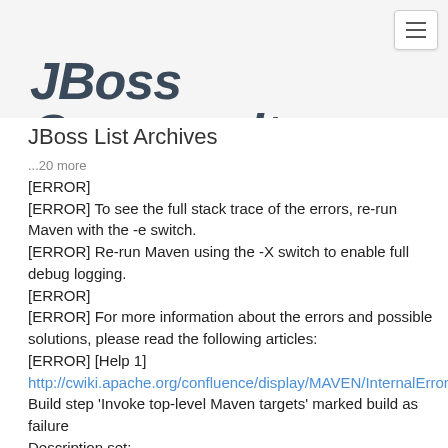JBoss Community
JBoss List Archives
...20 more
[ERROR]
[ERROR] To see the full stack trace of the errors, re-run Maven with the -e switch.
[ERROR] Re-run Maven using the -X switch to enable full debug logging.
[ERROR]
[ERROR] For more information about the errors and possible solutions, please read the following articles:
[ERROR] [Help 1]
http://cwiki.apache.org/confluence/display/MAVEN/InternalErrorException
Build step 'Invoke top-level Maven targets' marked build as failure
Description set: